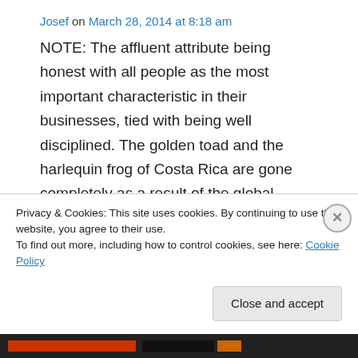Josef on March 28, 2014 at 8:18 am
NOTE: The affluent attribute being honest with all people as the most important characteristic in their businesses, tied with being well disciplined. The golden toad and the harlequin frog of Costa Rica are gone completely as a result of the global warming changes we are experiencing. Three years ago,
the visual difference between a console game and an online
Privacy & Cookies: This site uses cookies. By continuing to use this website, you agree to their use.
To find out more, including how to control cookies, see here: Cookie Policy